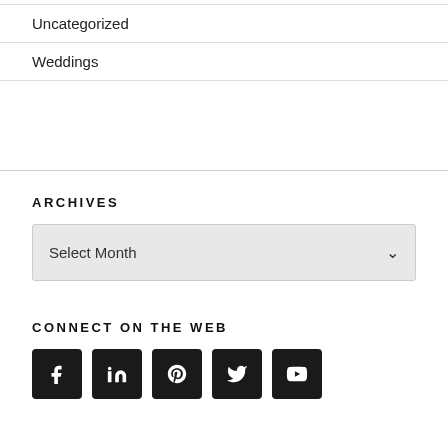Uncategorized
Weddings
ARCHIVES
Select Month
CONNECT ON THE WEB
[Figure (other): Row of 5 social media icon buttons (Facebook, LinkedIn, Pinterest, Twitter, YouTube) as dark square rounded icons]